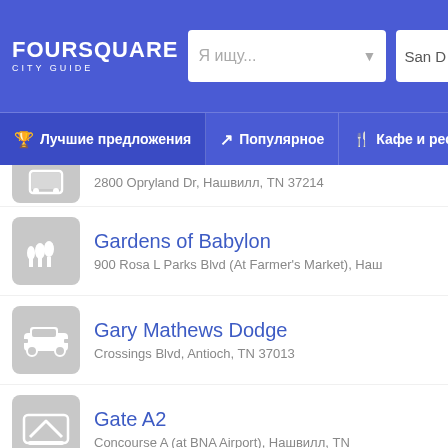FOURSQUARE CITY GUIDE
Лучшие предложения | Популярное | Кафе и ресторa
2800 Opryland Dr, Нашвилл, TN 37214
Gardens of Babylon
900 Rosa L Parks Blvd (At Farmer's Market), Наш
Gary Mathews Dodge
Crossings Blvd, Antioch, TN 37013
Gate A2
Concourse A (at BNA Airport), Нашвилл, TN
Gate A7
Concourse A (at BNA Airport), Нашвилл, TN 37214
Gate B2
Concourse B (at BNA Airport), Нашвилл, TN 372